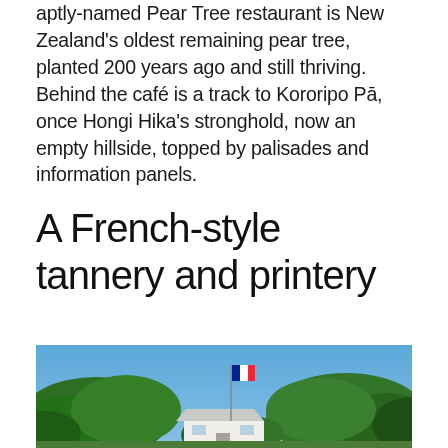aptly-named Pear Tree restaurant is New Zealand's oldest remaining pear tree, planted 200 years ago and still thriving. Behind the café is a track to Kororipo Pā, once Hongi Hika's stronghold, now an empty hillside, topped by palisades and information panels.
A French-style tannery and printery
[Figure (photo): Outdoor photo showing a white building with a metal roof, a tall flagpole with a French flag, surrounded by dense green trees against a bright blue sky.]